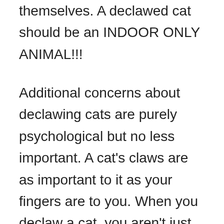they have only their teeth to defend themselves. A declawed cat should be an INDOOR ONLY ANIMAL!!!
Additional concerns about declawing cats are purely psychological but no less important. A cat's claws are as important to it as your fingers are to you. When you declaw a cat, you aren't just removing its nails. Declawing removes the tool cats use to grasp; when climbing, running, reaching and any number of activities a cat might